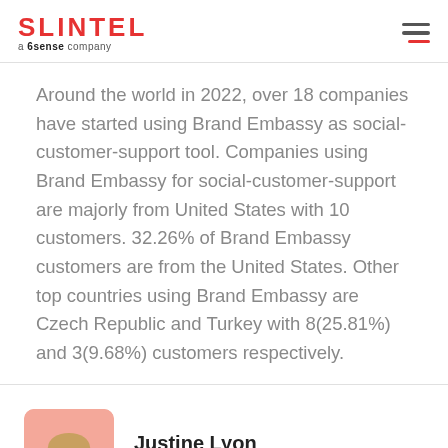SLINTEL a 6sense company
Around the world in 2022, over 18 companies have started using Brand Embassy as social-customer-support tool. Companies using Brand Embassy for social-customer-support are majorly from United States with 10 customers. 32.26% of Brand Embassy customers are from the United States. Other top countries using Brand Embassy are Czech Republic and Turkey with 8(25.81%) and 3(9.68%) customers respectively.
Justine Lyon
Senior VP of Sales, Ally